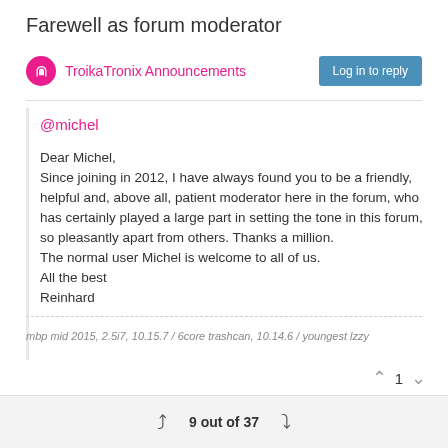Farewell as forum moderator
TroikaTronix Announcements
@michel
Dear Michel,
Since joining in 2012, I have always found you to be a friendly, helpful and, above all, patient moderator here in the forum, who has certainly played a large part in setting the tone in this forum, so pleasantly apart from others. Thanks a million.
The normal user Michel is welcome to all of us.
All the best
Reinhard
mbp mid 2015, 2.5i7, 10.15.7 / 6core trashcan, 10.14.6 / youngest lzzy
9 out of 37